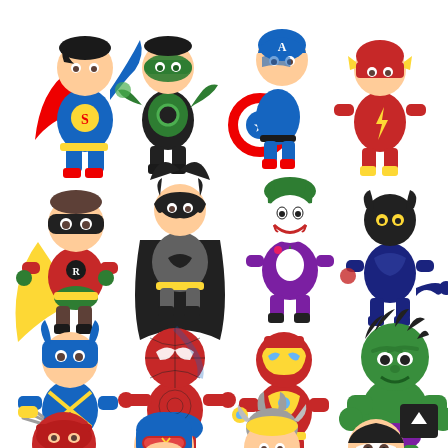[Figure (illustration): A collection of cute chibi-style cartoon superhero and supervillain characters arranged in a grid of 4 columns and 4 rows (plus partial bottom row). Characters include: Row 1: Superman, Green Lantern, Captain America, The Flash. Row 2: Robin, Batman, The Joker, a dark/black-suited hero with tail. Row 3: Wolverine, Spider-Man, Iron Man, The Hulk. Row 4 (partial): a red-masked hero, Cyclops (X-Men), Thor, a black-and-white hero. A small dark square with an upward arrow icon appears in the bottom-right corner. All characters are rendered in a simplified baby/chibi art style with large heads and small bodies on a white background.]